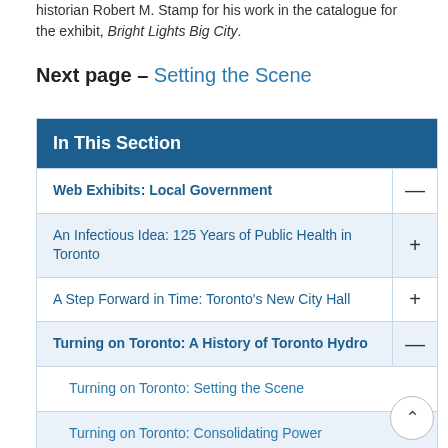historian Robert M. Stamp for his work in the catalogue for the exhibit, Bright Lights Big City.
Next page – Setting the Scene
| In This Section |  |
| --- | --- |
| Web Exhibits: Local Government | — |
| An Infectious Idea: 125 Years of Public Health in Toronto | + |
| A Step Forward in Time: Toronto's New City Hall | + |
| Turning on Toronto: A History of Toronto Hydro | — |
| Turning on Toronto: Setting the Scene |  |
| Turning on Toronto: Consolidating Power |  |
| Turning on Toronto: Harnessing the Power of |  |